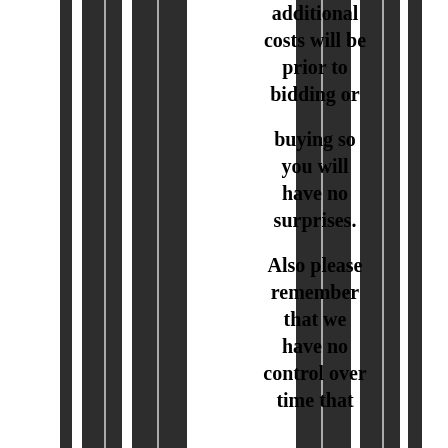additional costs will be prior to bidding or buying so you will have no surprises. Also please remember that we have no control over time that